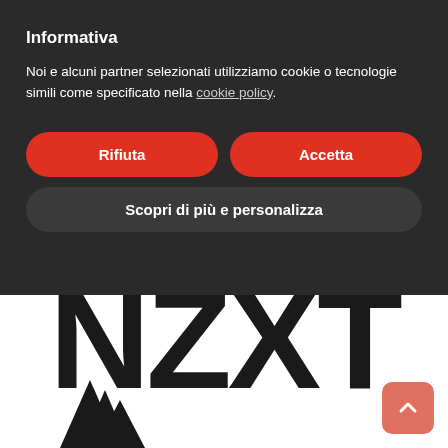Informativa
Noi e alcuni partner selezionati utilizziamo cookie o tecnologie simili come specificato nella cookie policy.
Rifiuta
Accetta
Scopri di più e personalizza
[Figure (logo): NZXT brand logo in large bold black letters on white background]
[Figure (logo): Corsair logo mark (partial) in bottom left corner]
[Figure (other): Scroll-to-top button with upward arrow, salmon/red color, rounded square, bottom right corner]